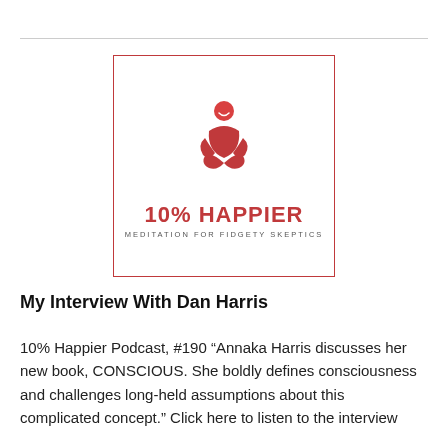[Figure (logo): 10% Happier podcast logo: a red meditating figure inside a red-bordered square, with text '10% HAPPIER' and subtitle 'MEDITATION FOR FIDGETY SKEPTICS']
My Interview With Dan Harris
10% Happier Podcast, #190 “Annaka Harris discusses her new book, CONSCIOUS. She boldly defines consciousness and challenges long-held assumptions about this complicated concept.” Click here to listen to the interview